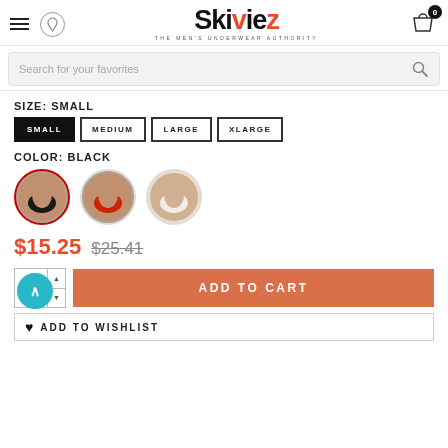[Figure (logo): Skiviez logo — 'THE MEN'S UNDERWEAR AUTHORITY']
Search for your favorites
SIZE: SMALL
SMALL | MEDIUM | LARGE | XLARGE
COLOR: BLACK
[Figure (photo): Three circular color-swatch product photos: black thong, red thong, white thong]
$15.25  $25.41
ADD TO CART
ADD TO WISHLIST